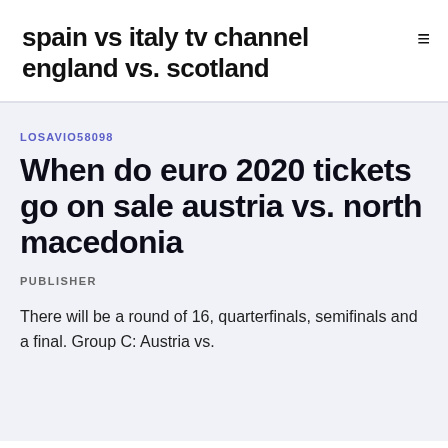spain vs italy tv channel england vs. scotland
LOSAVIO58098
When do euro 2020 tickets go on sale austria vs. north macedonia
PUBLISHER
There will be a round of 16, quarterfinals, semifinals and a final. Group C: Austria vs.